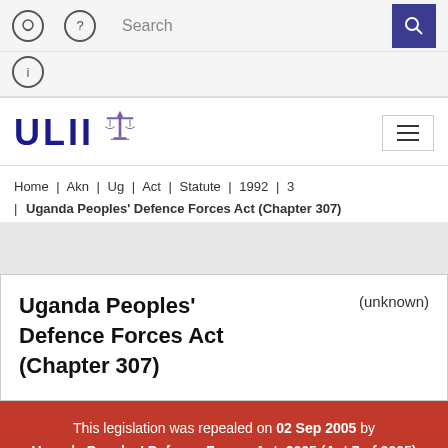Search
[Figure (logo): ULII logo with scales of justice icon]
Home | Akn | Ug | Act | Statute | 1992 | 3 | Uganda Peoples' Defence Forces Act (Chapter 307)
Uganda Peoples' Defence Forces Act (Chapter 307)
(unknown)
This legislation was repealed on 02 Sep 2005 by Uganda Peoples' Defence Forces Act, 2005 (Act 7 of 2005)